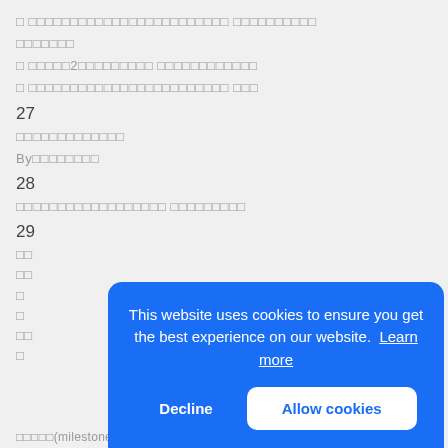□ □□□□□□□□□□□□□□□□□□□□□□□□ □□□□□□□□□□
□□□□□□□
□ □□□□□2□□□□□□□□□ □□□□□□□□□□□□
□ □□□□□□□□□□□□□□□□□□□□□□□□ □□□
27
□□□□□□□□□□□□□
By□□□□□□□□
28
□□□□□□□□□□□□□□□□□□ □□□□□□□□□
29
□□ □□ □ □ □□ □ □□ □
[Figure (screenshot): Cookie consent overlay banner with blue background. Text: 'This website uses cookies to ensure you get the best experience on our website. Learn more'. Buttons: 'Decline' (white text) and 'Allow cookies' (blue text on white background).]
□□□□□(milestone)□□□□□□□□□□□PV□